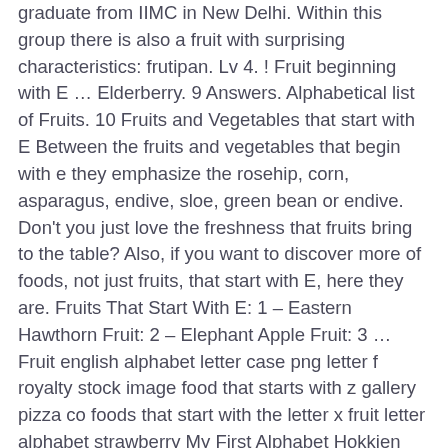graduate from IIMC in New Delhi. Within this group there is also a fruit with surprising characteristics: frutipan. Lv 4. ! Fruit beginning with E … Elderberry. 9 Answers. Alphabetical list of Fruits. 10 Fruits and Vegetables that start with E Between the fruits and vegetables that begin with e they emphasize the rosehip, corn, asparagus, endive, sloe, green bean or endive. Don't you just love the freshness that fruits bring to the table? Also, if you want to discover more of foods, not just fruits, that start with E, here they are. Fruits That Start With E: 1 – Eastern Hawthorn Fruit: 2 – Elephant Apple Fruit: 3 … Fruit english alphabet letter case png letter f royalty stock image food that starts with z gallery pizza co foods that start with the letter x fruit letter alphabet strawberry My First Alphabet Hokkien Fruit Edition AngmohdanAlphabet With Fruits And Vegetables IlrationFruit Alphabet Letters From A To Z By